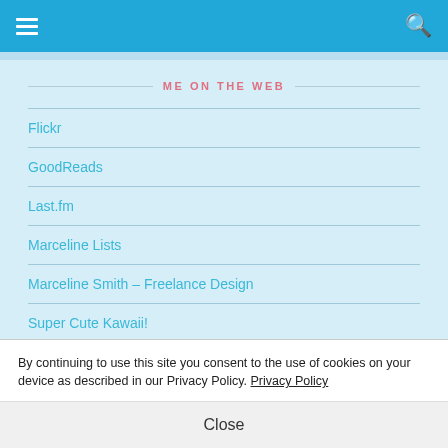ME ON THE WEB
Flickr
GoodReads
Last.fm
Marceline Lists
Marceline Smith – Freelance Design
Super Cute Kawaii!
Tumblr
Vimeo
By continuing to use this site you consent to the use of cookies on your device as described in our Privacy Policy. Privacy Policy
Close
2007-2018 unless credited otherwise. Sharing my